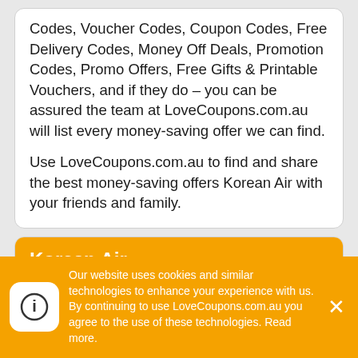Codes, Voucher Codes, Coupon Codes, Free Delivery Codes, Money Off Deals, Promotion Codes, Promo Offers, Free Gifts & Printable Vouchers, and if they do – you can be assured the team at LoveCoupons.com.au will list every money-saving offer we can find.
Use LoveCoupons.com.au to find and share the best money-saving offers Korean Air with your friends and family.
Korean Air
Korean Air began as a modest Asian airline with only eight planes on March 1, 1969.
Our website uses cookies and similar technologies to enhance your experience with us. By continuing to use LoveCoupons.com.au you agree to the use of these technologies. Read more.